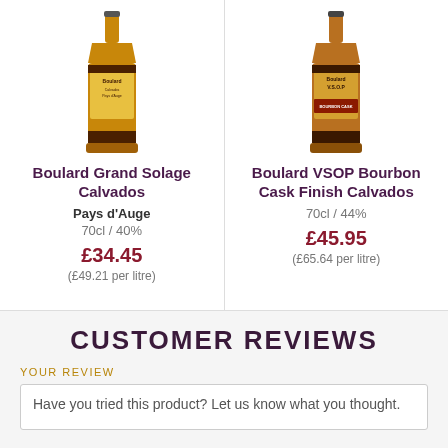[Figure (photo): Bottle of Boulard Grand Solage Calvados]
Boulard Grand Solage Calvados
Pays d'Auge
70cl / 40%
£34.45
(£49.21 per litre)
[Figure (photo): Bottle of Boulard VSOP Bourbon Cask Finish Calvados]
Boulard VSOP Bourbon Cask Finish Calvados
70cl / 44%
£45.95
(£65.64 per litre)
CUSTOMER REVIEWS
YOUR REVIEW
Have you tried this product? Let us know what you thought.